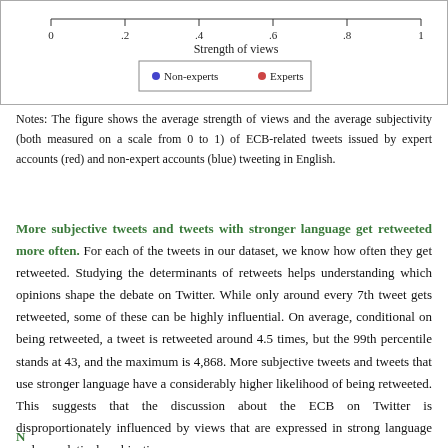[Figure (continuous-plot): Bottom fragment of a scatter/dot plot showing 'Strength of views' on x-axis (0 to 1), with legend showing Non-experts (blue dot) and Experts (red dot).]
Notes: The figure shows the average strength of views and the average subjectivity (both measured on a scale from 0 to 1) of ECB-related tweets issued by expert accounts (red) and non-expert accounts (blue) tweeting in English.
More subjective tweets and tweets with stronger language get retweeted more often. For each of the tweets in our dataset, we know how often they get retweeted. Studying the determinants of retweets helps understanding which opinions shape the debate on Twitter. While only around every 7th tweet gets retweeted, some of these can be highly influential. On average, conditional on being retweeted, a tweet is retweeted around 4.5 times, but the 99th percentile stands at 43, and the maximum is 4,868. More subjective tweets and tweets that use stronger language have a considerably higher likelihood of being retweeted. This suggests that the discussion about the ECB on Twitter is disproportionately influenced by views that are expressed in strong language and are relatively subjective.
Next, we turn to examining ECB communication between the...